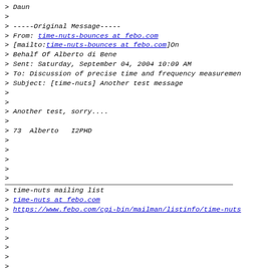> Daun
>
> -----Original Message-----
> From: time-nuts-bounces at febo.com
> [mailto:time-nuts-bounces at febo.com]On
> Behalf Of Alberto di Bene
> Sent: Saturday, September 04, 2004 10:09 AM
> To: Discussion of precise time and frequency measuremen
> Subject: [time-nuts] Another test message
>
>
> Another test, sorry....
>
> 73  Alberto  I2PHD
>
>
>
>
>
_______________________________________________
> time-nuts mailing list
> time-nuts at febo.com
> https://www.febo.com/cgi-bin/mailman/listinfo/time-nuts
>
>
>
>
>
_______________________________________________
> time-nuts mailing list
> time-nuts at febo.com
> https://www.febo.com/cgi-bin/mailman/listinfo/time-nuts
>